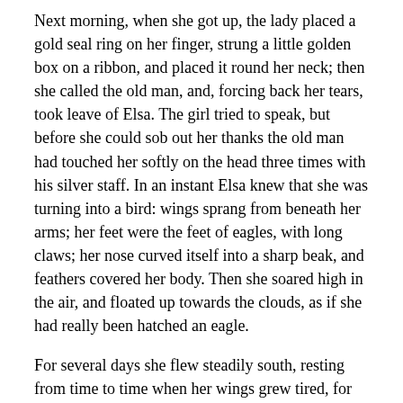Next morning, when she got up, the lady placed a gold seal ring on her finger, strung a little golden box on a ribbon, and placed it round her neck; then she called the old man, and, forcing back her tears, took leave of Elsa. The girl tried to speak, but before she could sob out her thanks the old man had touched her softly on the head three times with his silver staff. In an instant Elsa knew that she was turning into a bird: wings sprang from beneath her arms; her feet were the feet of eagles, with long claws; her nose curved itself into a sharp beak, and feathers covered her body. Then she soared high in the air, and floated up towards the clouds, as if she had really been hatched an eagle.
For several days she flew steadily south, resting from time to time when her wings grew tired, for hunger she never felt. And so it happened that one day she was flying over a dense forest, and below hounds were barking fiercely, because, not having wings themselves, she was out